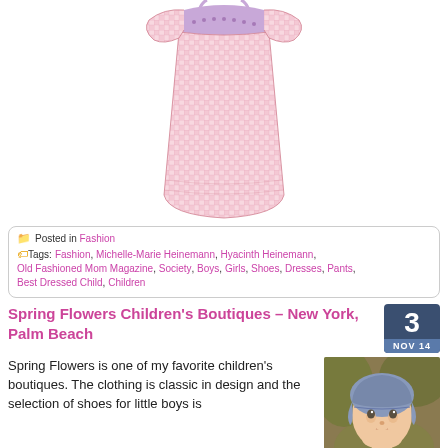[Figure (photo): Pink gingham children's dress with smocked bodice, shown on white background]
Posted in Fashion
Tags: Fashion, Michelle-Marie Heinemann, Hyacinth Heinemann, Old Fashioned Mom Magazine, Society, Boys, Girls, Shoes, Dresses, Pants, Best Dressed Child, Children
Spring Flowers Children's Boutiques – New York, Palm Beach
Spring Flowers is one of my favorite children's boutiques. The clothing is classic in design and the selection of shoes for little boys is
[Figure (photo): Young toddler wearing a blue bonnet, photographed outdoors]